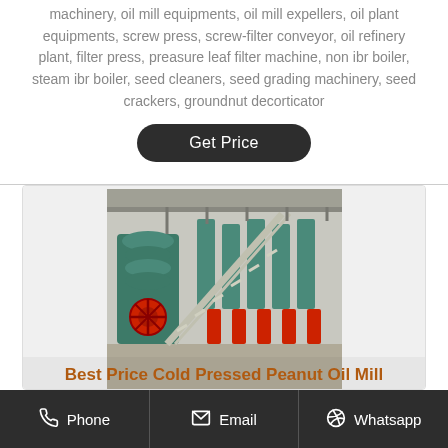machinery, oil mill equipments, oil mill expellers, oil plant equipments, screw press, screw-filter conveyor, oil refinery plant, filter press, preasure leaf filter machine, non ibr boiler, steam ibr boiler, seed cleaners, seed grading machinery, seed crackers, groundnut decorticator
Get Price
[Figure (photo): Industrial oil mill machinery with green machines, red wheel valves, and a metal staircase inside a factory setting. Multiple machines are lined up in a row.]
Best Price Cold Pressed Peanut Oil Mill
Phone   Email   Whatsapp